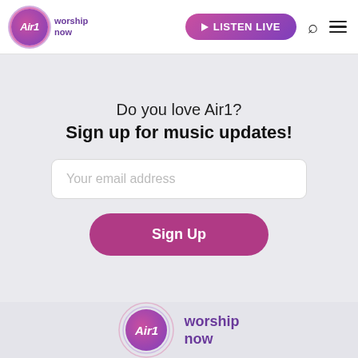Air1 worship now | LISTEN LIVE
Do you love Air1?
Sign up for music updates!
Your email address
Sign Up
[Figure (logo): Air1 worship now logo in footer]